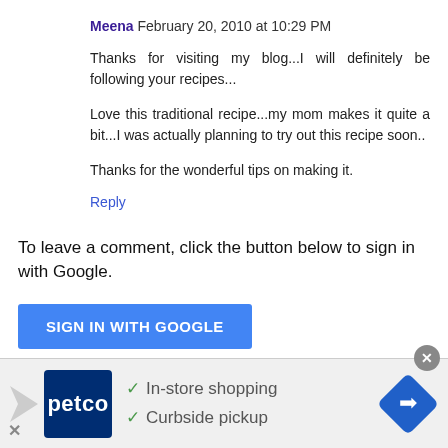Meena February 20, 2010 at 10:29 PM
Thanks for visiting my blog...I will definitely be following your recipes...
Love this traditional recipe...my mom makes it quite a bit...I was actually planning to try out this recipe soon..
Thanks for the wonderful tips on making it.
Reply
To leave a comment, click the button below to sign in with Google.
SIGN IN WITH GOOGLE
Thanks for visiting this page. Feel free to leave
[Figure (screenshot): Petco advertisement banner with logo, checkmarks for In-store shopping and Curbside pickup, and a navigation arrow icon]